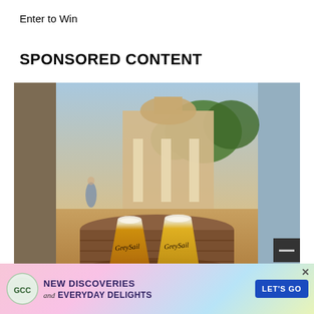Enter to Win
SPONSORED CONTENT
[Figure (photo): Two GreySail branded plastic cups of beer (one amber, one golden) sitting on a wooden barrel, with a historic building with columns and green trees visible in the blurred background outdoors.]
Sip and ... er Garden...
[Figure (infographic): GCC advertisement banner: logo with GCC letters, text 'NEW DISCOVERIES and EVERYDAY DELIGHTS', blue button saying 'LET'S GO'. Colorful pastel background with pink, blue and yellow blobs.]